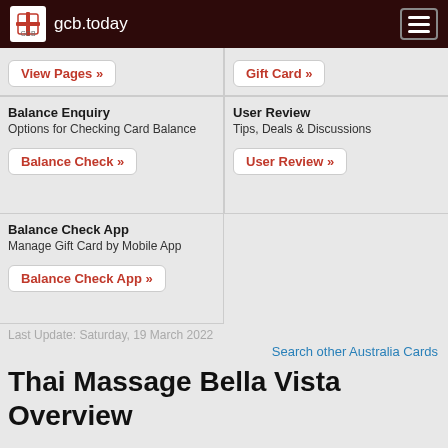gcb.today
View Pages »
Gift Card »
Balance Enquiry
Options for Checking Card Balance
Balance Check »
User Review
Tips, Deals & Discussions
User Review »
Balance Check App
Manage Gift Card by Mobile App
Balance Check App »
Last Update: Saturday, 19 March 2022
Search other Australia Cards
Thai Massage Bella Vista Overview